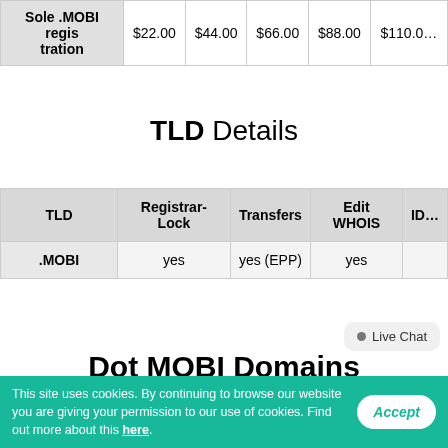| Sole .MOBI registration | $22.00 | $44.00 | $66.00 | $88.00 | $110.00 |
| --- | --- | --- | --- | --- | --- |
TLD Details
| TLD | Registrar-Lock | Transfers | Edit WHOIS | ID... |
| --- | --- | --- | --- | --- |
| .MOBI | yes | yes (EPP) | yes |  |
Dot MOBI Domains
More and more people use mobile gadgets to access the Internet, so the demand for mobile-friendly websites is steadily
This site uses cookies. By continuing to browse our website you are giving your permission to our use of cookies. Find out more about this here.